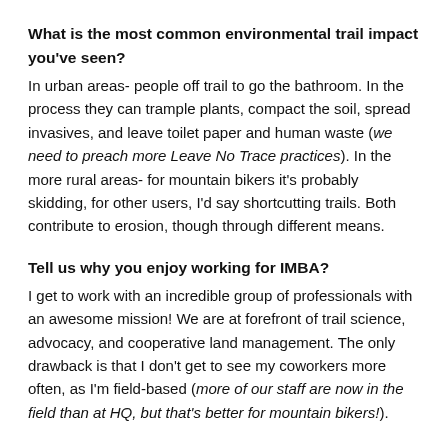What is the most common environmental trail impact you've seen?
In urban areas- people off trail to go the bathroom. In the process they can trample plants, compact the soil, spread invasives, and leave toilet paper and human waste (we need to preach more Leave No Trace practices). In the more rural areas- for mountain bikers it's probably skidding, for other users, I'd say shortcutting trails. Both contribute to erosion, though through different means.
Tell us why you enjoy working for IMBA?
I get to work with an incredible group of professionals with an awesome mission! We are at forefront of trail science, advocacy, and cooperative land management. The only drawback is that I don't get to see my coworkers more often, as I'm field-based (more of our staff are now in the field than at HQ, but that's better for mountain bikers!).
In your own words, why should people be involved with